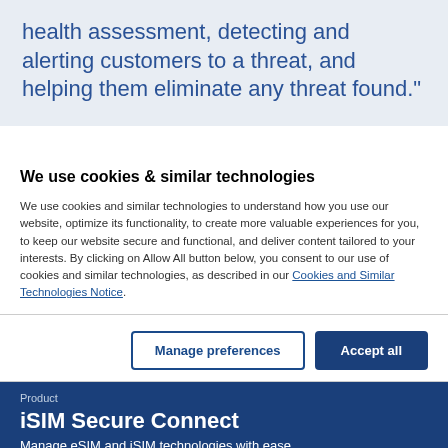health assessment, detecting and alerting customers to a threat, and helping them eliminate any threat found."
We use cookies & similar technologies
We use cookies and similar technologies to understand how you use our website, optimize its functionality, to create more valuable experiences for you, to keep our website secure and functional, and deliver content tailored to your interests. By clicking on Allow All button below, you consent to our use of cookies and similar technologies, as described in our Cookies and Similar Technologies Notice.
Manage preferences
Accept all
Product
iSIM Secure Connect
Manage eSIM and iSIM technologies with ease